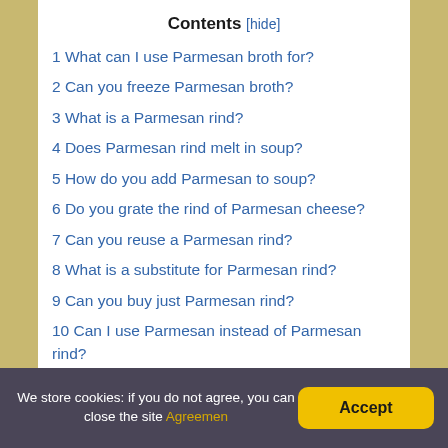Contents [hide]
1 What can I use Parmesan broth for?
2 Can you freeze Parmesan broth?
3 What is a Parmesan rind?
4 Does Parmesan rind melt in soup?
5 How do you add Parmesan to soup?
6 Do you grate the rind of Parmesan cheese?
7 Can you reuse a Parmesan rind?
8 What is a substitute for Parmesan rind?
9 Can you buy just Parmesan rind?
10 Can I use Parmesan instead of Parmesan rind?
11 What is Parmesan rind made of?
12 Why parmesan is not vegetarian?
13 How many times can I reuse a Parmesan rind?
We store cookies: if you do not agree, you can close the site  Agreement
Accept